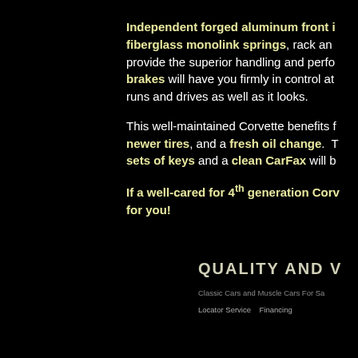Independent forged aluminum front i... fiberglass monolink springs, rack and... provide the superior handling and perfo... brakes will have you firmly in control at... runs and drives as well as it looks.
This well-maintained Corvette benefits f... newer tires, and a fresh oil change. T... sets of keys and a clean CarFax will b...
If a well-cared for 4th generation Corv... for you!
QUALITY AND V
Classic Cars and Muscle Cars For Sa...
Locator Service    Financing